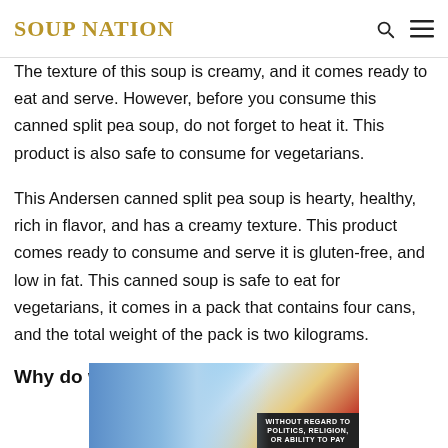SOUP NATION
The texture of this soup is creamy, and it comes ready to eat and serve. However, before you consume this canned split pea soup, do not forget to heat it. This product is also safe to consume for vegetarians.
This Andersen canned split pea soup is hearty, healthy, rich in flavor, and has a creamy texture. This product comes ready to consume and serve it is gluten-free, and low in fat. This canned soup is safe to eat for vegetarians, it comes in a pack that contains four cans, and the total weight of the pack is two kilograms.
Why do we like it?
[Figure (photo): Advertisement banner showing an airplane being loaded with cargo, with text overlay 'WITHOUT REGARD TO POLITICS, RELIGION, OR ABILITY TO PAY']